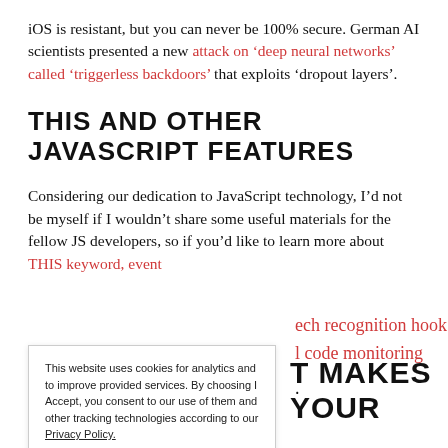iOS is resistant, but you can never be 100% secure. German AI scientists presented a new attack on ‘deep neural networks’ called ‘triggerless backdoors’ that exploits ‘dropout layers’.
THIS AND OTHER JAVASCRIPT FEATURES
Considering our dedication to JavaScript technology, I’d not be myself if I wouldn’t share some useful materials for the fellow JS developers, so if you’d like to learn more about THIS keyword, event ...ech recognition hook ...l code monitoring ... .
This website uses cookies for analytics and to improve provided services. By choosing I Accept, you consent to our use of them and other tracking technologies according to our Privacy Policy.
I ACCEPT
T MAKES YOUR
THE ENTIRE...